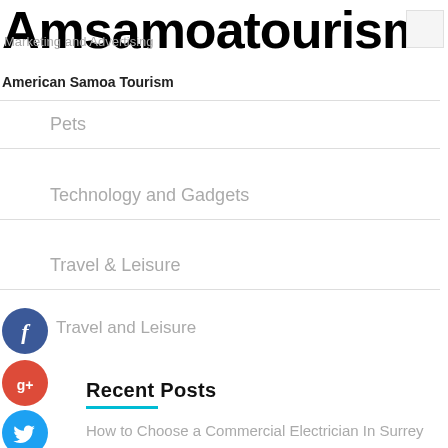Amsamoatourism
Marketing and Advertising
American Samoa Tourism
Pets
Technology and Gadgets
Travel & Leisure
Travel and Leisure
[Figure (other): Facebook social share button (blue circle with f icon)]
[Figure (other): Google+ social share button (red circle with g+ icon)]
[Figure (other): Twitter social share button (blue circle with bird icon)]
[Figure (other): Add/plus social share button (dark circle with + icon)]
Recent Posts
How to Choose a Commercial Electrician In Surrey